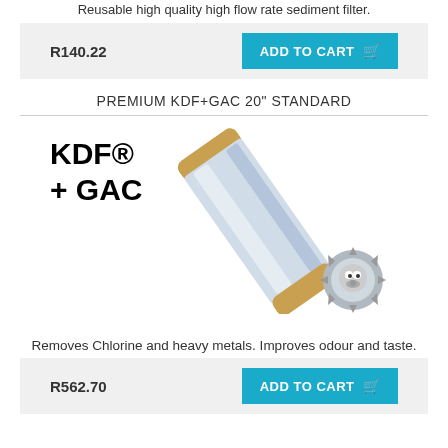Reusable high quality high flow rate sediment filter.
R140.22
ADD TO CART
PREMIUM KDF+GAC 20" STANDARD
[Figure (photo): KDF+GAC 20 inch standard water filter cartridge shown diagonally with a brand logo in the bottom right]
Removes Chlorine and heavy metals. Improves odour and taste.
R562.70
ADD TO CART